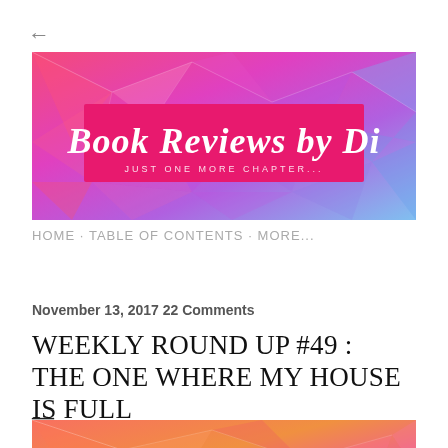[Figure (illustration): Blog banner for 'Book Reviews by Di' with colorful geometric crystal/polygon background in pinks, purples, and blues. Center has a hot pink rectangle with white script text 'Book Reviews by Di' and smaller text 'JUST ONE MORE CHAPTER...']
HOME · TABLE OF CONTENTS · MORE...
November 13, 2017 22 Comments
WEEKLY ROUND UP #49 : THE ONE WHERE MY HOUSE IS FULL
[Figure (illustration): Colorful geometric crystal/polygon background in coral, orange, pink tones — partial view, cropped at bottom of page]